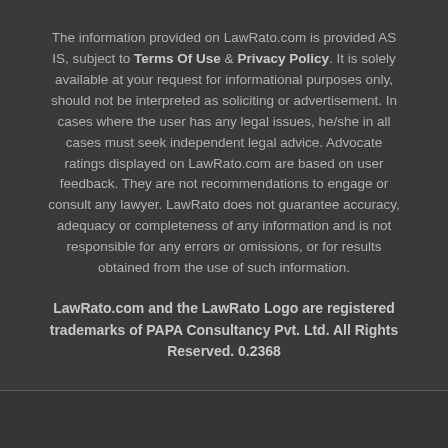The information provided on LawRato.com is provided AS IS, subject to Terms Of Use & Privacy Policy. It is solely available at your request for informational purposes only, should not be interpreted as soliciting or advertisement. In cases where the user has any legal issues, he/she in all cases must seek independent legal advice. Advocate ratings displayed on LawRato.com are based on user feedback. They are not recommendations to engage or consult any lawyer. LawRato does not guarantee accuracy, adequacy or completeness of any information and is not responsible for any errors or omissions, or for results obtained from the use of such information.
LawRato.com and the LawRato Logo are registered trademarks of PAPA Consultancy Pvt. Ltd. All Rights Reserved. 0.2368